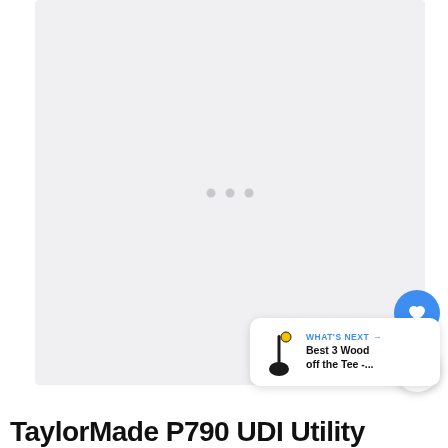[Figure (screenshot): A light gray placeholder image/video area with three small gray dots in the center indicating a loading or carousel state. Blue heart button and white share button on the right side. A 'What's Next' card in the bottom-right showing a golf club icon and text 'Best 3 Wood off the Tee -...']
TaylorMade P790 UDI Utility